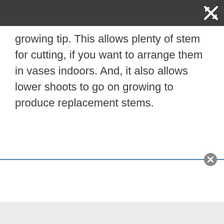growing tip. This allows plenty of stem for cutting, if you want to arrange them in vases indoors. And, it also allows lower shoots to go on growing to produce replacement stems.